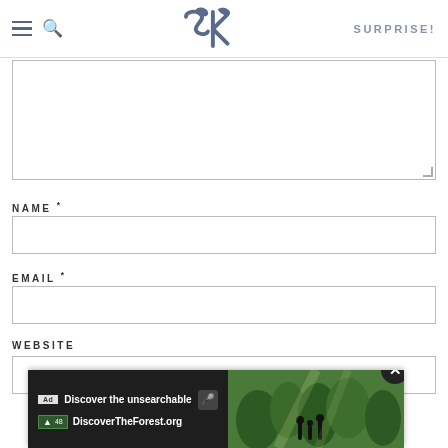SK — SURPRISE!
[Comment textarea]
NAME *
[Name input field]
EMAIL *
[Email input field]
WEBSITE
[Website input field]
[Figure (screenshot): Ad banner overlay: 'Discover the unsearchable' / 'DiscoverTheForest.org' with forest imagery and close button]